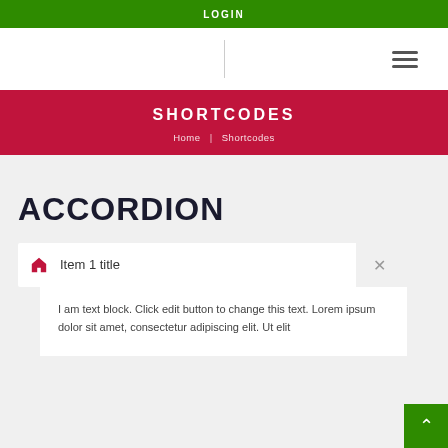LOGIN
[Figure (screenshot): Website header with vertical divider line and hamburger menu icon]
SHORTCODES
Home | Shortcodes
ACCORDION
Item 1 title
I am text block. Click edit button to change this text. Lorem ipsum dolor sit amet, consectetur adipiscing elit. Ut elit